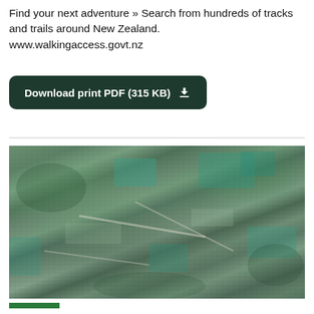Find your next adventure » Search from hundreds of tracks and trails around New Zealand. www.walkingaccess.govt.nz
Download print PDF (315 KB)
[Figure (photo): Aerial photograph showing a New Zealand landscape with green hills, fields, and what appears to be a town or settlement with teal-colored water features or paddocks visible among predominantly green terrain.]